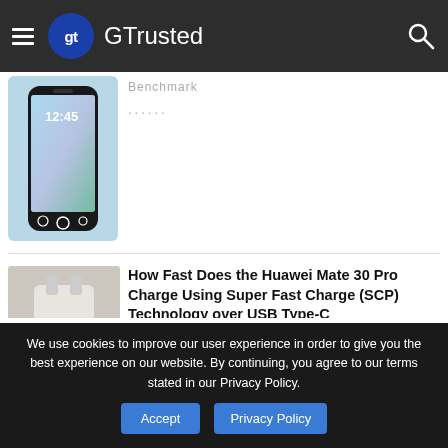GTrusted
[Figure (screenshot): Screenshot of a Samsung Galaxy S6 Edge smartphone showing lock screen with time 12:45]
Benchmark
......
[Figure (photo): Photo of a Huawei USB Type-C charger adapter]
How Fast Does the Huawei Mate 30 Pro Charge Using Super Fast Charge (SCP) Technology over USB Type-C
The Huawei Mate30 Pro grows battery capacity like everyone else but bucks
We use cookies to improve our user experience in order to give you the best experience on our website. By continuing, you agree to our terms stated in our Privacy Policy.